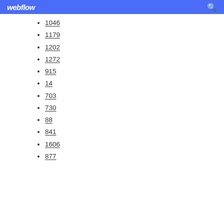webflow
1046
1179
1202
1272
915
14
703
730
88
841
1606
877